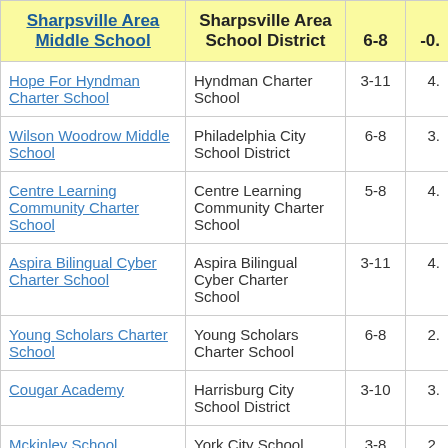| School | District | Grades | Value |
| --- | --- | --- | --- |
| Sharpsville Area Middle School | Sharpsville Area School District | 6-8 | -0. |
| Hope For Hyndman Charter School | Hyndman Charter School | 3-11 | 4. |
| Wilson Woodrow Middle School | Philadelphia City School District | 6-8 | 3. |
| Centre Learning Community Charter School | Centre Learning Community Charter School | 5-8 | 4. |
| Aspira Bilingual Cyber Charter School | Aspira Bilingual Cyber Charter School | 3-11 | 4. |
| Young Scholars Charter School | Young Scholars Charter School | 6-8 | 2. |
| Cougar Academy | Harrisburg City School District | 3-10 | 3. |
| Mckinley School | York City School District | 3-8 | 2. |